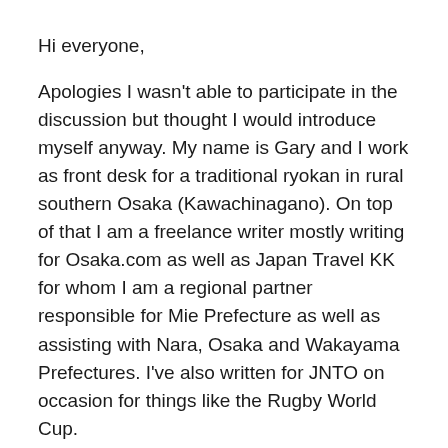Hi everyone,
Apologies I wasn't able to participate in the discussion but thought I would introduce myself anyway. My name is Gary and I work as front desk for a traditional ryokan in rural southern Osaka (Kawachinagano). On top of that I am a freelance writer mostly writing for Osaka.com as well as Japan Travel KK for whom I am a regional partner responsible for Mie Prefecture as well as assisting with Nara, Osaka and Wakayama Prefectures. I've also written for JNTO on occasion for things like the Rugby World Cup.
Through this I occasionally assist with tourism consultations as well as taking part in monitor tours to provide feedback and advice for regional tourism and potential future tour packages. I also have my own website focusing on local history and folklore which I